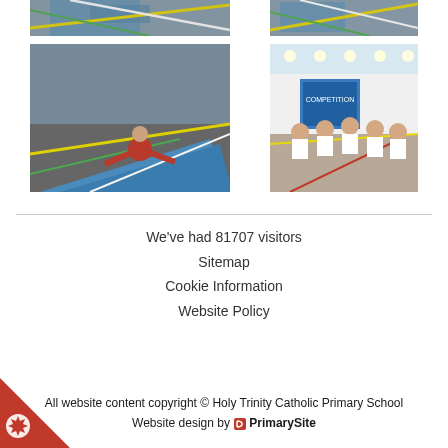[Figure (photo): Top-left cropped photo showing blue gymnastics mats on a sports hall floor with coloured lines]
[Figure (photo): Top-right cropped photo showing blue gymnastics mats on a sports hall floor]
[Figure (photo): Boy in red gymnastics outfit sitting in splits on a blue mat on a sports hall floor]
[Figure (photo): Group of children in white and red sports kit posing in a sports hall with competition banners]
We've had 81707 visitors
Sitemap
Cookie Information
Website Policy
All website content copyright © Holy Trinity Catholic Primary School
Website design by PrimarySite